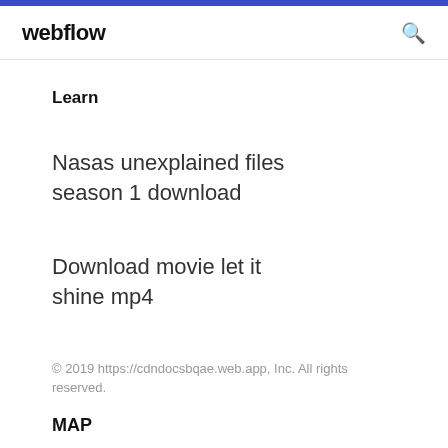webflow
Learn
Nasas unexplained files season 1 download
Download movie let it shine mp4
© 2019 https://cdndocsbqae.web.app, Inc. All rights reserved.
MAP